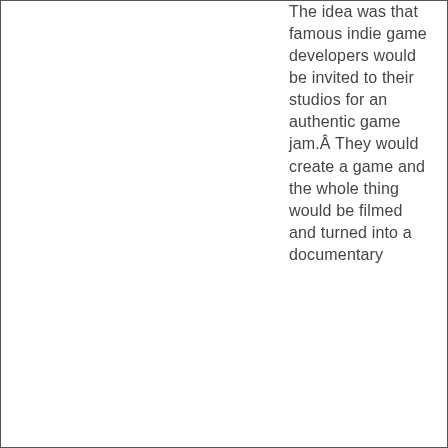The idea was that famous indie game developers would be invited to their studios for an authentic game jam.Â They would create a game and the whole thing would be filmed and turned into a documentary